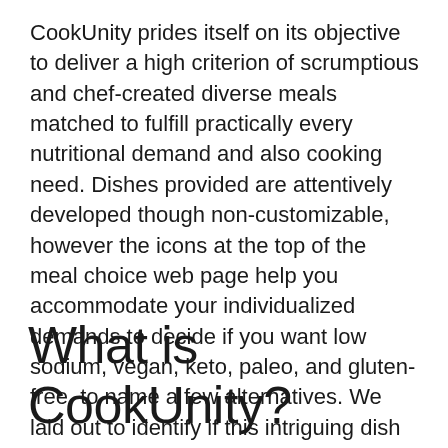CookUnity prides itself on its objective to deliver a high criterion of scrumptious and chef-created diverse meals matched to fulfill practically every nutritional demand and also cooking need. Dishes provided are attentively developed though non-customizable, however the icons at the top of the meal choice web page help you accommodate your individualized demands to decide if you want low sodium, vegan, keto, paleo, and gluten-free, to name a few alternatives. We laid out to identify if this intriguing dish solution can provide on its guarantee.
What is CookUnity?